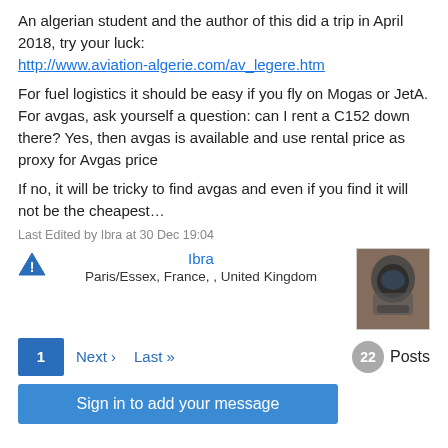An algerian student and the author of this did a trip in April 2018, try your luck:
http://www.aviation-algerie.com/av_legere.htm
For fuel logistics it should be easy if you fly on Mogas or JetA. For avgas, ask yourself a question: can I rent a C152 down there? Yes, then avgas is available and use rental price as proxy for Avgas price
If no, it will be tricky to find avgas and even if you find it will not be the cheapest...
Last Edited by Ibra at 30 Dec 19:04
Ibra
Paris/Essex, France, , United Kingdom
1  Next ›  Last »  22 Posts
Sign in to add your message
Threads possibly related to this one